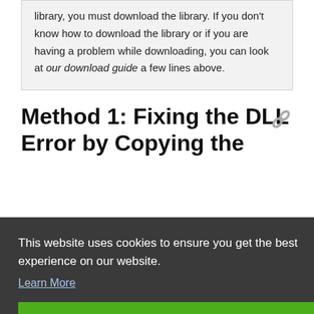library, you must download the library. If you don't know how to download the library or if you are having a problem while downloading, you can look at our download guide a few lines above.
Method 1: Fixing the DLL Error by Copying the
This website uses cookies to ensure you get the best experience on our website.
Learn More
Got it!
ed to extract the dynamic link library from within it. So,